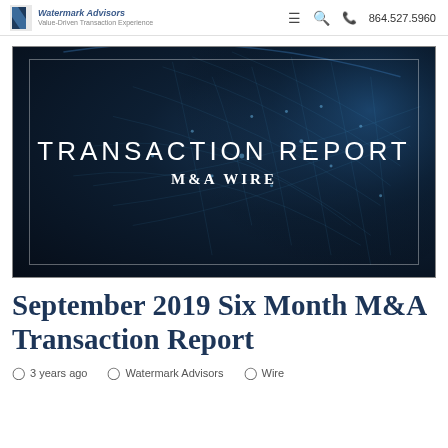Watermark Advisors | ≡ 🔍 864.527.5960
[Figure (illustration): Dark globe/network image with white text overlay reading TRANSACTION REPORT and M&A WIRE, with inner border frame]
September 2019 Six Month M&A Transaction Report
3 years ago   Watermark Advisors   Wire